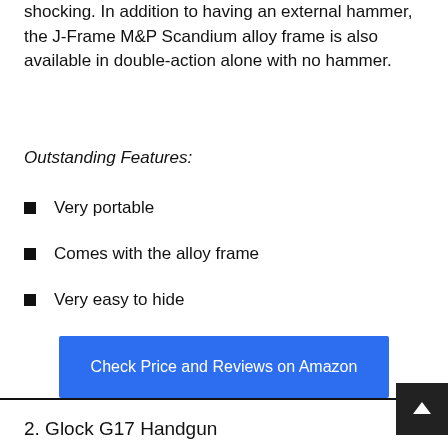shocking. In addition to having an external hammer, the J-Frame M&P Scandium alloy frame is also available in double-action alone with no hammer.
Outstanding Features:
Very portable
Comes with the alloy frame
Very easy to hide
[Figure (other): Blue button: Check Price and Reviews on Amazon]
2. Glock G17 Handgun